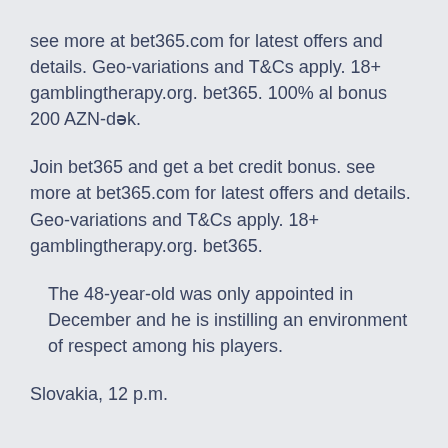see more at bet365.com for latest offers and details. Geo-variations and T&Cs apply. 18+ gamblingtherapy.org. bet365. 100% al bonus 200 AZN-dək.
Join bet365 and get a bet credit bonus. see more at bet365.com for latest offers and details. Geo-variations and T&Cs apply. 18+ gamblingtherapy.org. bet365.
The 48-year-old was only appointed in December and he is instilling an environment of respect among his players.
Slovakia, 12 p.m.